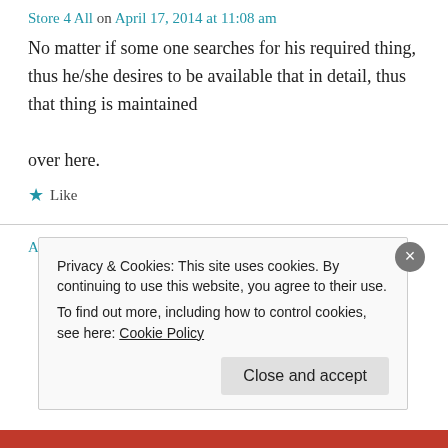Store 4 All on April 17, 2014 at 11:08 am
No matter if some one searches for his required thing, thus he/she desires to be available that in detail, thus that thing is maintained over here.
★ Like
Ambrose on April 17, 2014 at 6:32 pm
Privacy & Cookies: This site uses cookies. By continuing to use this website, you agree to their use. To find out more, including how to control cookies, see here: Cookie Policy
Close and accept